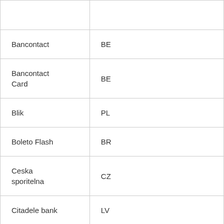|  |  |
| Bancontact | BE |
| Bancontact Card | BE |
| Blik | PL |
| Boleto Flash | BR |
| Ceska sporitelna | CZ |
| Citadele bank | LV |
|  |  |